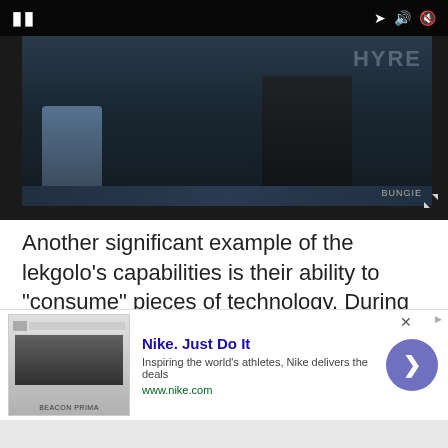[Figure (screenshot): A dark video player showing a Halo game screenshot with armored characters, game HUD elements, and a BUNGIE watermark in the lower right. Video playback controls are visible at the top including a pause button.]
Another significant example of the lekgolo's capabilities is their ability to "consume" pieces of technology. During their explorations on the lekgolo homeworld of Te, the Covenant discovered that the lekgolo were ingesting Forerunner artifacts and structures. Due to the Covenant's religious beliefs regarding the Forerunners, this sparked a bloody, vicious war that resulted in the lekgolo being tamed and integrated into the Covenant. Aside from serving
[Figure (other): Nike advertisement banner. Shows a small thumbnail of a shoe product on the left. Ad title: 'Nike. Just Do It'. Description: 'Inspiring the world's athletes, Nike delivers the deals'. URL: www.nike.com. A purple circular arrow button is on the right side.]